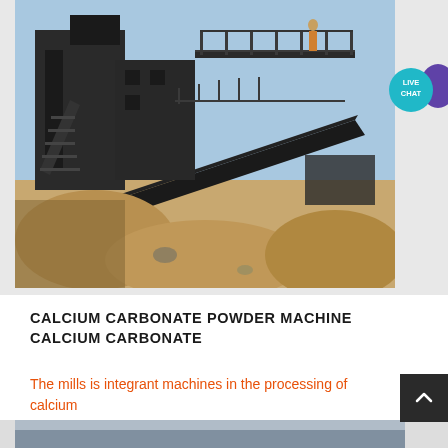[Figure (photo): Industrial calcium carbonate powder processing machine / crusher equipment photographed outdoors at a mining or quarrying site. Large steel structure with conveyor belt, stairs, and railings. Sandy/rocky terrain visible in foreground. Blue sky background.]
CALCIUM CARBONATE POWDER MACHINE CALCIUM CARBONATE
The mills is integrant machines in the processing of calcium
[Figure (photo): Partial bottom strip showing another industrial equipment photo (partially visible).]